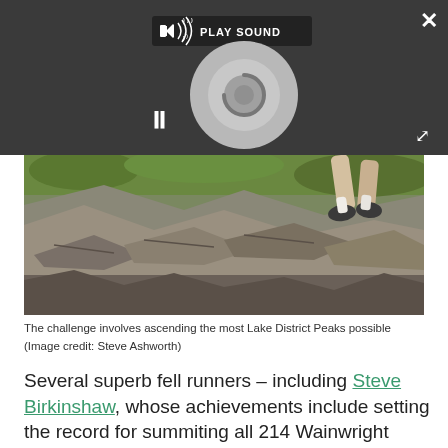[Figure (screenshot): Media player overlay on dark background with PLAY SOUND button, vinyl/disc graphic, pause button (||), close (X) button top right, and expand arrows button bottom right]
[Figure (photo): Photo of a fell runner's legs on rocky mountain terrain with green mossy grass and grey rocks — Lake District peaks]
The challenge involves ascending the most Lake District Peaks possible (Image credit: Steve Ashworth)
Several superb fell runners – including Steve Birkinshaw, whose achievements include setting the record for summiting all 214 Wainwright Fells – have tried to better Mark's monster haul since, but without success. Recently Beth Pascall broke the Bob Graham